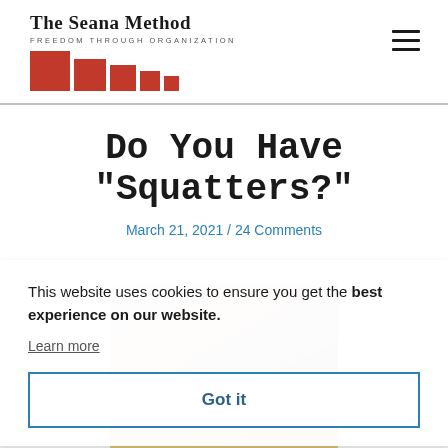The Seana Method FREEDOM THROUGH ORGANIZATION
Do You Have “Squatters?”
March 21, 2021 / 24 Comments
This website uses cookies to ensure you get the best experience on our website. Learn more
Got it
[Figure (photo): Partially visible decorative photograph behind cookie consent banner]